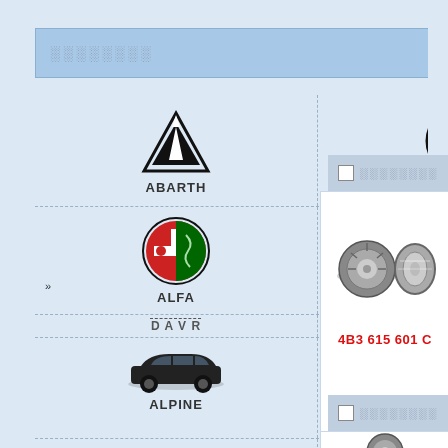░░░░░░░░
[Figure (logo): ABARTH logo - triangle with arrow]
ABARTH
[Figure (logo): ACURA logo - circle with A]
ACURA
[Figure (logo): ALFA Romeo circular badge]
ALFA
[Figure (logo): ALPINA shield badge]
ALPINA
DAVR...
[Figure (photo): Black sedan car silhouette]
ALPINE
[Figure (photo): Black sedan car silhouette]
ANCHI
[Figure (logo): ASTON Martin wings logo]
ASTON
[Figure (logo): AUDI four rings logo]
AUDI
MARTIN...
[Figure (photo): Black sedan car]
»  ░░░
[Figure (photo): Brake discs pair]
4B3 615 601 C
░░░░░░░░
[Figure (photo): Brake disc partial]